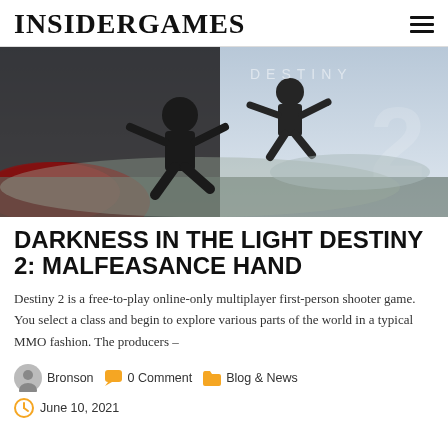INSIDERGAMES
[Figure (photo): Destiny 2 game promotional image showing armored characters jumping in combat with 'DESTINY 2' text overlay on a dramatic background]
DARKNESS IN THE LIGHT DESTINY 2: MALFEASANCE HAND
Destiny 2 is a free-to-play online-only multiplayer first-person shooter game. You select a class and begin to explore various parts of the world in a typical MMO fashion. The producers –
Bronson  0 Comment  Blog & News
June 10, 2021